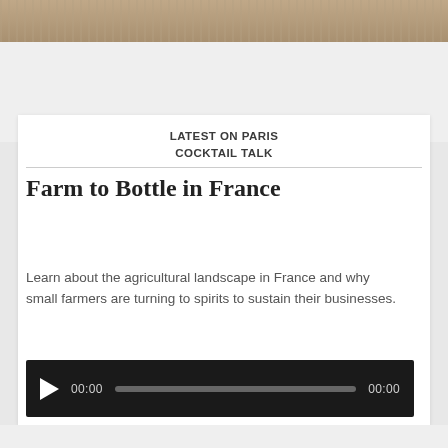[Figure (photo): Partial view of a photo showing a cityscape or crowd scene, cropped at top of page]
LATEST ON PARIS COCKTAIL TALK
Farm to Bottle in France
Learn about the agricultural landscape in France and why small farmers are turning to spirits to sustain their businesses.
[Figure (other): Audio player with play button, timestamp 00:00, progress bar, and end time 00:00]